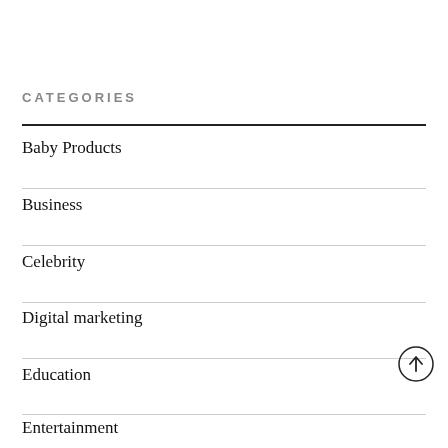CATEGORIES
Baby Products
Business
Celebrity
Digital marketing
Education
Entertainment